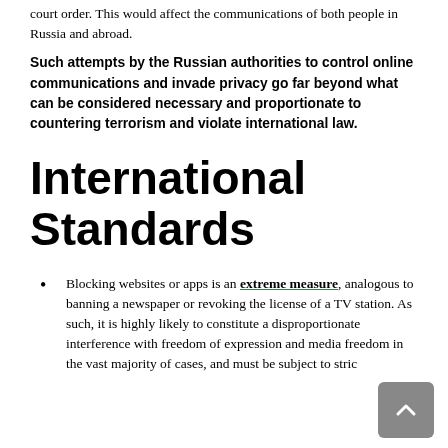court order. This would affect the communications of both people in Russia and abroad.
Such attempts by the Russian authorities to control online communications and invade privacy go far beyond what can be considered necessary and proportionate to countering terrorism and violate international law.
International Standards
Blocking websites or apps is an extreme measure, analogous to banning a newspaper or revoking the license of a TV station. As such, it is highly likely to constitute a disproportionate interference with freedom of expression and media freedom in the vast majority of cases, and must be subject to strict